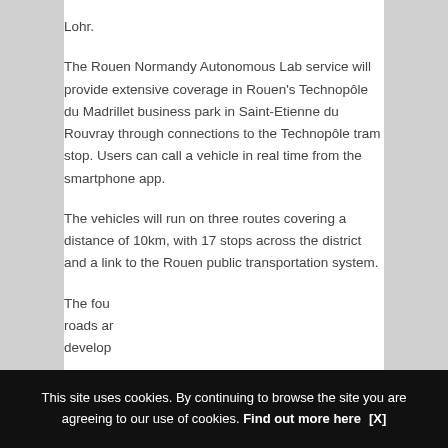Lohr.
The Rouen Normandy Autonomous Lab service will provide extensive coverage in Rouen's Technopôle du Madrillet business park in Saint-Etienne du Rouvray through connections to the Technopôle tram stop. Users can call a vehicle in real time from the smartphone app.
The vehicles will run on three routes covering a distance of 10km, with 17 stops across the district and a link to the Rouen public transportation system.
The fou... roads ar... develop...
This site uses cookies. By continuing to browse the site you are agreeing to our use of cookies. Find out more here [X]